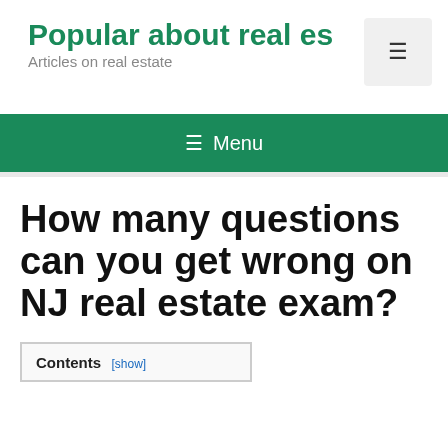Popular about real es
Articles on real estate
≡ Menu
How many questions can you get wrong on NJ real estate exam?
Contents [show]